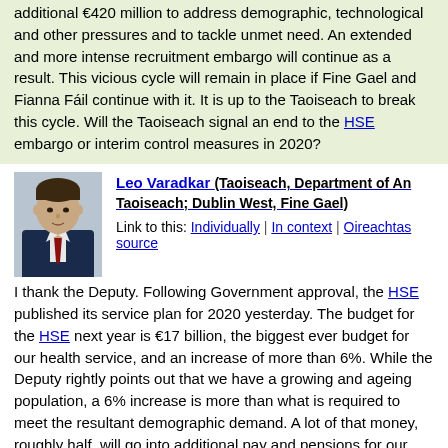additional €420 million to address demographic, technological and other pressures and to tackle unmet need. An extended and more intense recruitment embargo will continue as a result. This vicious cycle will remain in place if Fine Gael and Fianna Fáil continue with it. It is up to the Taoiseach to break this cycle. Will the Taoiseach signal an end to the HSE embargo or interim control measures in 2020?
Leo Varadkar (Taoiseach, Department of An Taoiseach; Dublin West, Fine Gael)
Link to this: Individually | In context | Oireachtas source
I thank the Deputy. Following Government approval, the HSE published its service plan for 2020 yesterday. The budget for the HSE next year is €17 billion, the biggest ever budget for our health service, and an increase of more than 6%. While the Deputy rightly points out that we have a growing and ageing population, a 6% increase is more than what is required to meet the resultant demographic demand. A lot of that money, roughly half, will go into additional pay and pensions for our healthcare staff. We stand over that. We want to be able to pay our staff better and pay them more, and that is why so much of next year's budget will go into pay and pensions. Roughly half of the increase will go directly to staff in pay increases, pensions and the hiring of additional staff. I thank the HSE, the new board and the new CEO for the professional and collaborative manner in which the service plan was drawn up this year. It was so much more professional and collaborative than in previous years.